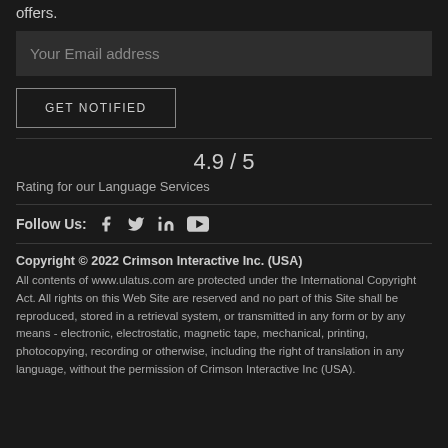offers.
Your Email address
GET NOTIFIED
4.9 / 5
Rating for our Language Services
Follow Us:
[Figure (other): Social media icons: Facebook, Twitter, LinkedIn, YouTube]
Copyright © 2022 Crimson Interactive Inc. (USA) All contents of www.ulatus.com are protected under the International Copyright Act. All rights on this Web Site are reserved and no part of this Site shall be reproduced, stored in a retrieval system, or transmitted in any form or by any means - electronic, electrostatic, magnetic tape, mechanical, printing, photocopying, recording or otherwise, including the right of translation in any language, without the permission of Crimson Interactive Inc (USA).